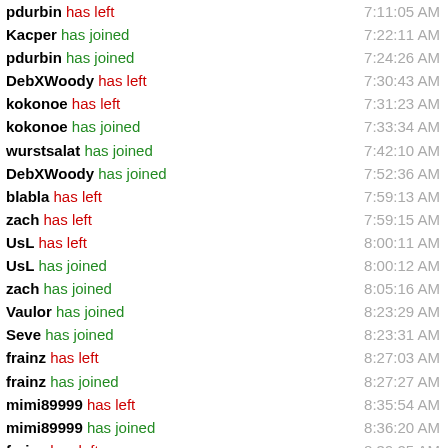pdurbin has left 7:11:05 AM
Kacper has joined 7:22:11 AM
pdurbin has joined 7:24:26 AM
DebXWoody has left 7:30:43 AM
kokonoe has left 7:31:23 AM
kokonoe has joined 7:33:34 AM
wurstsalat has joined 7:42:10 AM
DebXWoody has joined 7:52:36 AM
blabla has left 7:59:13 AM
zach has left 7:59:15 AM
UsL has left 8:00:11 AM
UsL has joined 8:00:12 AM
zach has joined 8:05:16 AM
Vaulor has joined 8:23:29 AM
Seve has joined 8:23:31 AM
frainz has left 8:27:03 AM
frainz has joined 8:27:27 AM
mimi89999 has left 8:35:54 AM
mimi89999 has joined 8:36:20 AM
frainz has left 8:39:25 AM
frainz has joined 8:39:30 AM
alacer has left 8:45:55 AM
alacer has joined 8:45:57 AM
Dele Olajide has joined 8:47:23 AM
Dele Olajide has left 8:47:58 AM